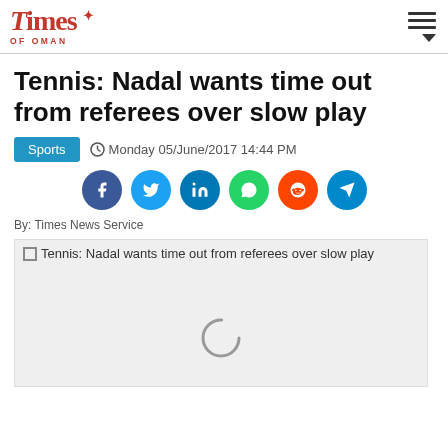Times of Oman
Tennis: Nadal wants time out from referees over slow play
Sports  Monday 05/June/2017 14:44 PM
[Figure (infographic): Social sharing icons: Facebook, Twitter, LinkedIn, WhatsApp, Reddit, Telegram]
By: Times News Service
[Figure (photo): Tennis: Nadal wants time out from referees over slow play - loading image placeholder with spinner]